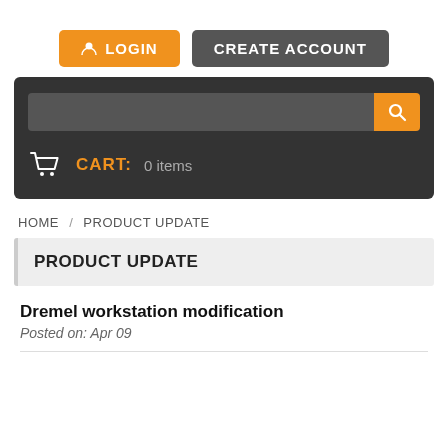[Figure (screenshot): Login and Create Account buttons at top of page]
[Figure (screenshot): Navigation bar with search field and cart indicator showing 0 items]
HOME / PRODUCT UPDATE
PRODUCT UPDATE
Dremel workstation modification
Posted on: Apr 09